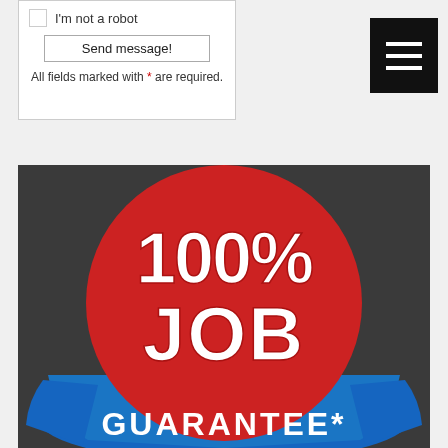[Figure (screenshot): Web form fragment showing reCAPTCHA checkbox with 'I'm not a robot' text, a 'Send message!' button, and a note: 'All fields marked with * are required.']
[Figure (logo): 100% Job Guarantee badge: red circle with white bold text '100% JOB' and a blue banner below reading 'GUARANTEE*']